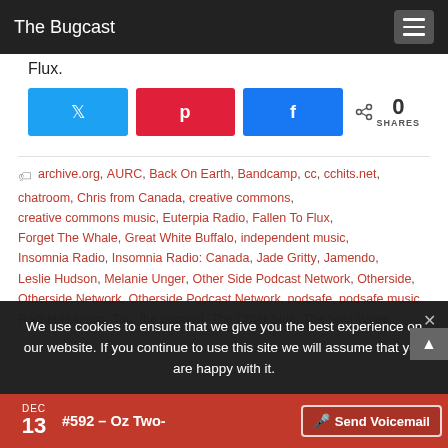The Bugcast
Flux.
[Figure (other): Social share buttons row: Twitter (blue), Pinterest (red), Facebook (blue), plus share count showing 0 SHARES]
archive.org, AURC, Back On Earth, Bandcamp, cc, cchits.net, chatroom, Chris from Canada, creative commons, creative commons music, Euterpia Radio, Fallen To Flux, Forget The Whale, Great White Buffalo, independent music, Insomnia Radio, Insomnia Radio: Canada, Jade Gritty, Jamendo, Leslie Hudson, Melanie Unger, Other Side Podcast Network, Otherside, Otherside Network, Otherside Podcast Network, podsafe, podsafe music, Rachel Huitsing, Tab, the bugcast, The Other Side, The Spin Wires
We use cookies to ensure that we give you the best experience on our website. If you continue to use this site we will assume that you are happy with it.
DEC 13 #592 – Oz Two-
Send Voicemail